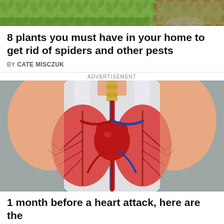[Figure (photo): Top cropped photo showing outdoor scene with green foliage and partial view of a plaid garment]
8 plants you must have in your home to get rid of spiders and other pests
BY CATE MISCZUK
ADVERTISEMENT
[Figure (illustration): Medical illustration of a human torso (female) wearing a white tank top, with the chest area showing a visible heart and lungs diagram in red against a blue background]
1 month before a heart attack, here are the
© Cooktop Cove   About Ads   Terms   Privacy   Do Not Sell My Info